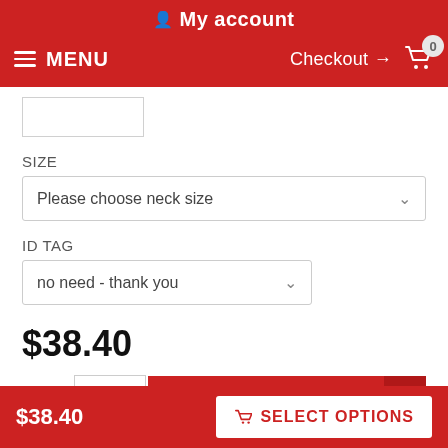My account
MENU
Checkout → 0
[Figure (screenshot): Small product image thumbnail box (empty/white)]
SIZE
Please choose neck size
ID TAG
no need - thank you
$38.40
QTY : 1  ADD TO CART
$38.40  SELECT OPTIONS